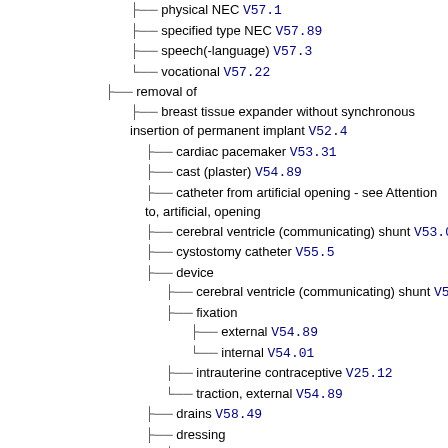physical NEC V57.1
specified type NEC V57.89
speech(-language) V57.3
vocational V57.22
removal of
breast tissue expander without synchronous insertion of permanent implant V52.4
cardiac pacemaker V53.31
cast (plaster) V54.89
catheter from artificial opening - see Attention to, artificial, opening
cerebral ventricle (communicating) shunt V53.01
cystostomy catheter V55.5
device
cerebral ventricle (communicating) shunt V53.01
fixation
external V54.89
internal V54.01
intrauterine contraceptive V25.12
traction, external V54.89
drains V58.49
dressing
wound V58.30